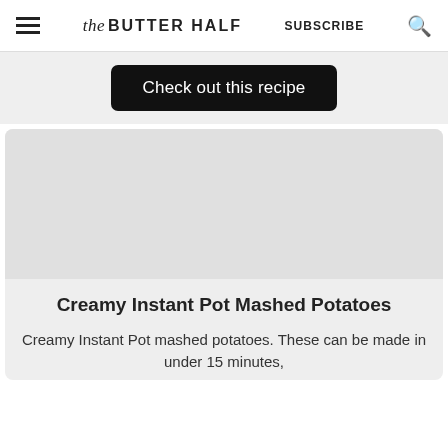the BUTTER HALF   SUBSCRIBE
Check out this recipe
Creamy Instant Pot Mashed Potatoes
Creamy Instant Pot mashed potatoes. These can be made in under 15 minutes,